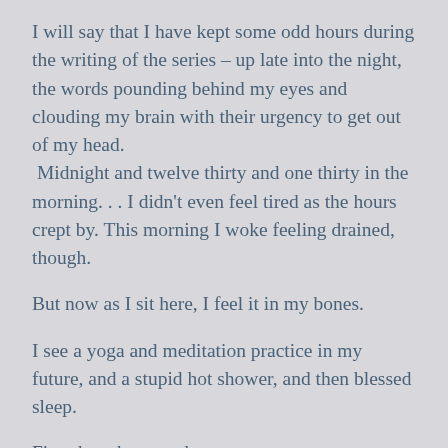I will say that I have kept some odd hours during the writing of the series – up late into the night, the words pounding behind my eyes and clouding my brain with their urgency to get out of my head.  Midnight and twelve thirty and one thirty in the morning. . . I didn't even feel tired as the hours crept by. This morning I woke feeling drained, though.
But now as I sit here, I feel it in my bones.
I see a yoga and meditation practice in my future, and a stupid hot shower, and then blessed sleep.
First though, an update.
I am excited to announce that Elephant Journal promoted my latest post, To the Woman he Walked Away From. (That's a link in case you'd like to click